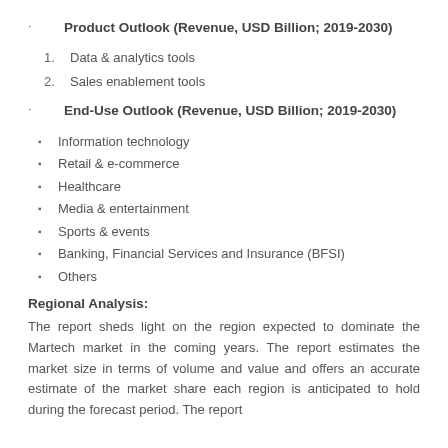Product Outlook (Revenue, USD Billion; 2019-2030)
1. Data & analytics tools
2. Sales enablement tools
End-Use Outlook (Revenue, USD Billion; 2019-2030)
Information technology
Retail & e-commerce
Healthcare
Media & entertainment
Sports & events
Banking, Financial Services and Insurance (BFSI)
Others
Regional Analysis:
The report sheds light on the region expected to dominate the Martech market in the coming years. The report estimates the market size in terms of volume and value and offers an accurate estimate of the market share each region is anticipated to hold during the forecast period. The report